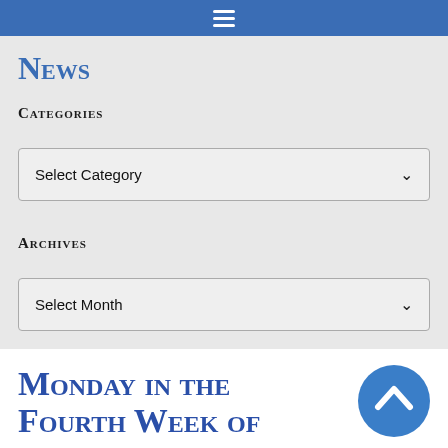News
Categories
Select Category
Archives
Select Month
Monday in the Fourth Week of Advent – Mass in